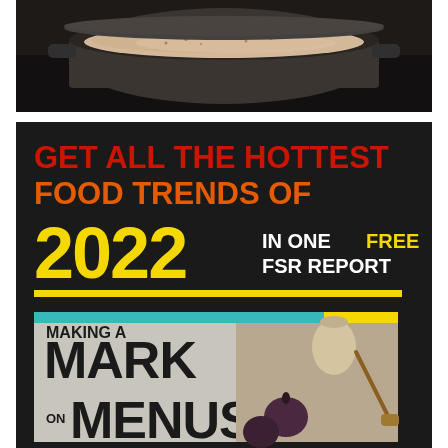[Figure (photo): Overhead photo of a dark cast iron or ceramic pot/pan containing a creamy soup or stew, set on a dark background]
[Figure (infographic): Black promotional banner reading 'GET ALL THE HOTTEST FOOD TRENDS OF 2022 IN ONE FREE FSR REPORT' with large yellow '2022', red/orange text, and a white/yellow decorative bar, featuring a magazine cover for 'MAKING A MARK ON MENUS' below with food photography]